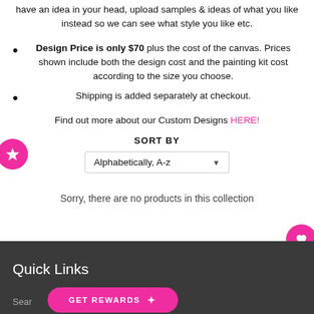have an idea in your head, upload samples & ideas of what you like instead so we can see what style you like etc.
Design Price is only $70 plus the cost of the canvas. Prices shown include both the design cost and the painting kit cost according to the size you choose.
Shipping is added separately at checkout.
Find out more about our Custom Designs HERE!
SORT BY
Alphabetically, A-z
Sorry, there are no products in this collection
Quick Links
Sear